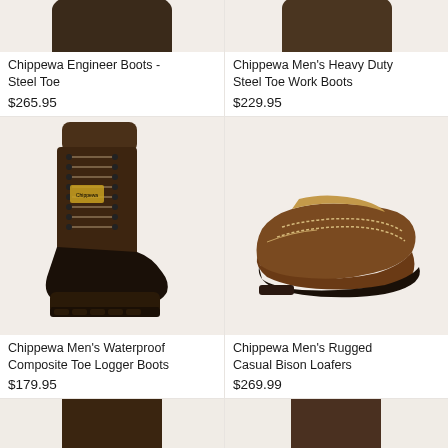[Figure (photo): Partial top of product images - cropped boots visible at top of page]
Chippewa Engineer Boots - Steel Toe
$265.95
Chippewa Men's Heavy Duty Steel Toe Work Boots
$229.95
[Figure (photo): Dark brown lace-up Chippewa Men's Waterproof Composite Toe Logger Boot with black toe cap and heavy lug sole]
[Figure (photo): Brown leather Chippewa Men's Rugged Casual Bison Loafer with moccasin stitching and dark sole]
Chippewa Men's Waterproof Composite Toe Logger Boots
$179.95
Chippewa Men's Rugged Casual Bison Loafers
$269.99
[Figure (photo): Partial bottom images of additional products cropped at bottom of page]